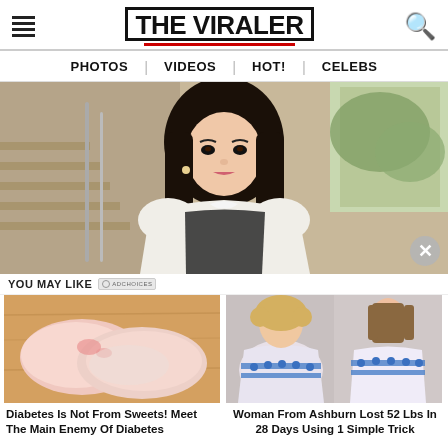THE VIRALER
PHOTOS | VIDEOS | HOT! | CELEBS
[Figure (photo): Young Asian woman with long dark hair wearing a white sheer blouse with bow, standing near stone stairs with metal railing]
YOU MAY LIKE
[Figure (photo): Raw chicken breasts on a wooden cutting board]
Diabetes Is Not From Sweets! Meet The Main Enemy Of Diabetes
[Figure (photo): Before and after weight loss comparison - woman in white dress]
Woman From Ashburn Lost 52 Lbs In 28 Days Using 1 Simple Trick